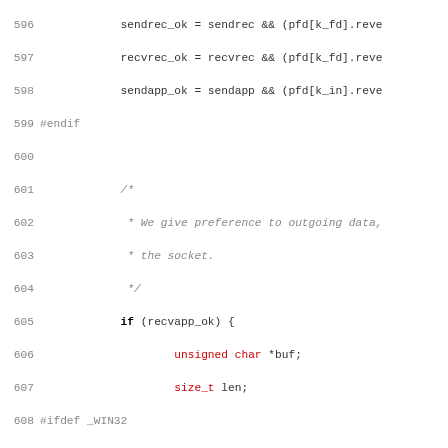[Figure (screenshot): Source code listing in C, lines 596-627, showing SSL engine code with syntax highlighting. Keywords in bold, type names in red, function names in blue, preprocessor directives in gray, comments in italic gray.]